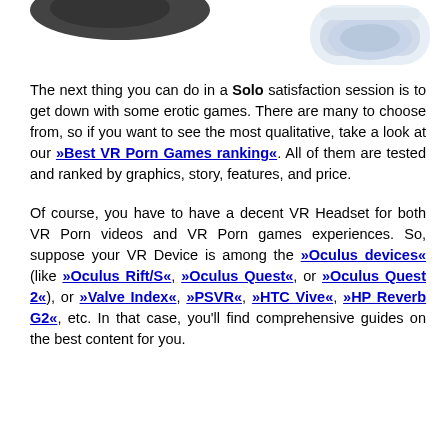[Figure (photo): Partial view of VR headset devices at the top of the page, white/blue colored, cropped]
The next thing you can do in a Solo satisfaction session is to get down with some erotic games. There are many to choose from, so if you want to see the most qualitative, take a look at our »Best VR Porn Games ranking«. All of them are tested and ranked by graphics, story, features, and price.
Of course, you have to have a decent VR Headset for both VR Porn videos and VR Porn games experiences. So, suppose your VR Device is among the »Oculus devices« (like »Oculus Rift/S«, »Oculus Quest«, or »Oculus Quest 2«), or »Valve Index«, »PSVR«, »HTC Vive«, »HP Reverb G2«, etc. In that case, you'll find comprehensive guides on the best content for you.